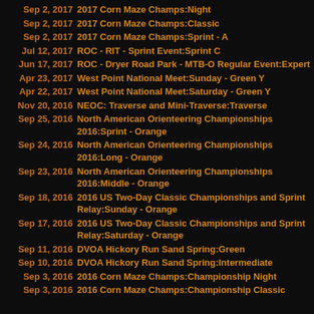Sep 2, 2017 2017 Corn Maze Champs:Night
Sep 2, 2017 2017 Corn Maze Champs:Classic
Sep 2, 2017 2017 Corn Maze Champs:Sprint - A
Jul 12, 2017 ROC - RIT - Sprint Event:Sprint C
Jun 17, 2017 ROC - Dryer Road Park - MTB-O Regular Event:Expert
Apr 23, 2017 West Point National Meet:Sunday - Green Y
Apr 22, 2017 West Point National Meet:Saturday - Green Y
Nov 20, 2016 NEOC: Traverse and Mini-Traverse:Traverse
Sep 25, 2016 North American Orienteering Championships 2016:Sprint - Orange
Sep 24, 2016 North American Orienteering Championships 2016:Long - Orange
Sep 23, 2016 North American Orienteering Championships 2016:Middle - Orange
Sep 18, 2016 2016 US Two-Day Classic Championships and Sprint Relay:Sunday - Orange
Sep 17, 2016 2016 US Two-Day Classic Championships and Sprint Relay:Saturday - Orange
Sep 11, 2016 DVOA Hickory Run Sand Spring:Green
Sep 10, 2016 DVOA Hickory Run Sand Spring:Intermediate
Sep 3, 2016 2016 Corn Maze Champs:Championship Night
Sep 3, 2016 2016 Corn Maze Champs:Championship Classic